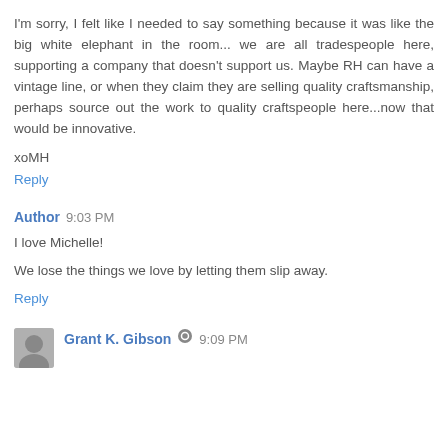I'm sorry, I felt like I needed to say something because it was like the big white elephant in the room... we are all tradespeople here, supporting a company that doesn't support us. Maybe RH can have a vintage line, or when they claim they are selling quality craftsmanship, perhaps source out the work to quality craftspeople here...now that would be innovative.
xoMH
Reply
Author  9:03 PM
I love Michelle!
We lose the things we love by letting them slip away.
Reply
Grant K. Gibson  9:09 PM